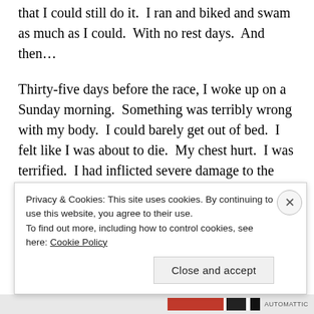that I could still do it.  I ran and biked and swam as much as I could.  With no rest days.  And then…
Thirty-five days before the race, I woke up on a Sunday morning.  Something was terribly wrong with my body.  I could barely get out of bed.  I felt like I was about to die.  My chest hurt.  I was terrified.  I had inflicted severe damage to the endocrine system of my body in my attempt to get beyond the uncertainty.
Now, I had this terrifying dream...
Privacy & Cookies: This site uses cookies. By continuing to use this website, you agree to their use.
To find out more, including how to control cookies, see here: Cookie Policy
Close and accept